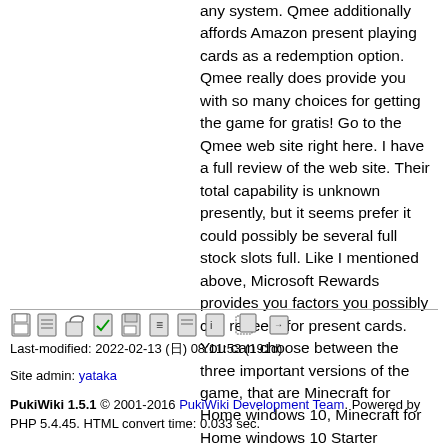any system. Qmee additionally affords Amazon present playing cards as a redemption option. Qmee really does provide you with so many choices for getting the game for gratis! Go to the Qmee web site right here. I have a full review of the web site. Their total capability is unknown presently, but it seems prefer it could possibly be several full stock slots full. Like I mentioned above, Microsoft Rewards provides you factors you possibly can redeem for present cards. You can choose between the three important versions of the game, that are Minecraft for Home windows 10, Minecraft for Home windows 10 Starter Collection, and Minecraft for Home windows 10 Master Assortment.</p>
Last-modified: 2022-02-13 (日) 08:11:53 (191d)
Site admin: yataka
PukiWiki 1.5.1 © 2001-2016 PukiWiki Development Team. Powered by PHP 5.4.45. HTML convert time: 0.033 sec.